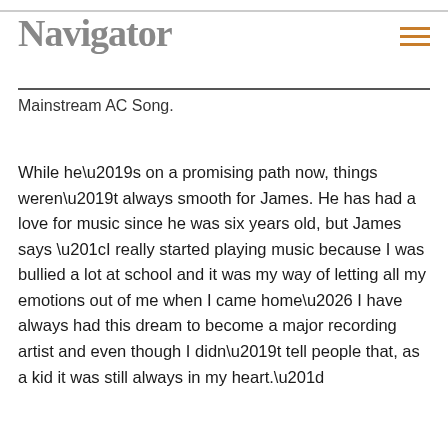Navigator
Mainstream AC Song.
While he’s on a promising path now, things weren’t always smooth for James. He has had a love for music since he was six years old, but James says “I really started playing music because I was bullied a lot at school and it was my way of letting all my emotions out of me when I came home… I have always had this dream to become a major recording artist and even though I didn’t tell people that, as a kid it was still always in my heart.”